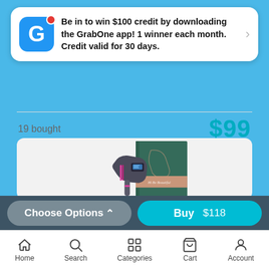[Figure (screenshot): GrabOne app notification card with blue G logo icon, red notification dot, and promotional text about winning $100 credit]
Be in to win $100 credit by downloading the GrabOne app! 1 winner each month. Credit valid for 30 days.
19 bought
$99
[Figure (photo): IPL hair removal device (dark grey/black with pink accents and LCD display) in front of teal green gift box with rose gold ribbon]
Choose Options ^
Buy $118
Home
Search
Categories
Cart
Account